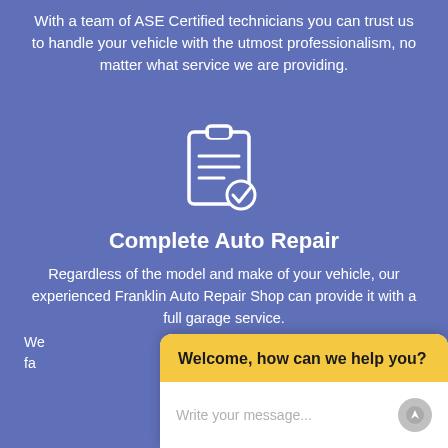With a team of ASE Certified technicians you can trust us to handle your vehicle with the utmost professionalism, no matter what service we are providing.
[Figure (illustration): White clipboard with checklist and checkmark icon on blue background]
Complete Auto Repair
Regardless of the model and make of your vehicle, our experienced Franklin Auto Repair Shop can provide it with a full garage service.
[Figure (illustration): White wrench and screwdriver crossed icon on blue background]
[Figure (screenshot): Chat popup widget with yellow header saying 'Welcome, how can we help you?' and white message input area with placeholder text 'Write your message...' and a send button]
We fa